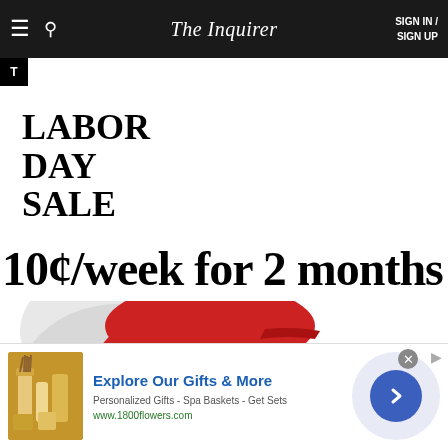The Inquirer — SIGN IN / SIGN UP
LABOR DAY SALE
10¢/week for 2 months
[Figure (illustration): Beach umbrella illustration with red top and white panels, with a yellow beach bag below]
[Figure (illustration): Advertisement banner: Explore Our Gifts & More — Personalized Gifts - Spa Baskets - Get Sets — www.1800flowers.com]